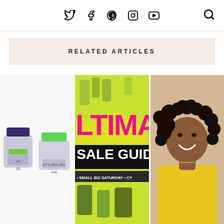Social media icons: Twitter, Facebook, Pinterest, Instagram, YouTube, and a search icon
RELATED ARTICLES
[Figure (photo): Photo of two hair gel product jars (one dark blue, one with green lid) on white background]
[Figure (photo): Promotional graphic with pink text 'TIMA' and black banner 'SALE GUID' with text '• SMALL BIZ SATURDAY • CY', yellow-green background, with various hair product bottles]
[Figure (photo): Photo of a smiling Black woman with curly hair wearing a yellow sweater]